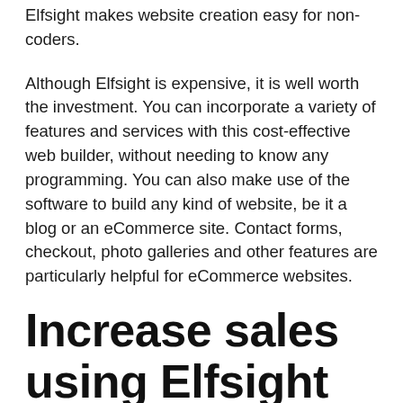Elfsight makes website creation easy for non-coders.
Although Elfsight is expensive, it is well worth the investment. You can incorporate a variety of features and services with this cost-effective web builder, without needing to know any programming. You can also make use of the software to build any kind of website, be it a blog or an eCommerce site. Contact forms, checkout, photo galleries and other features are particularly helpful for eCommerce websites.
Increase sales using Elfsight